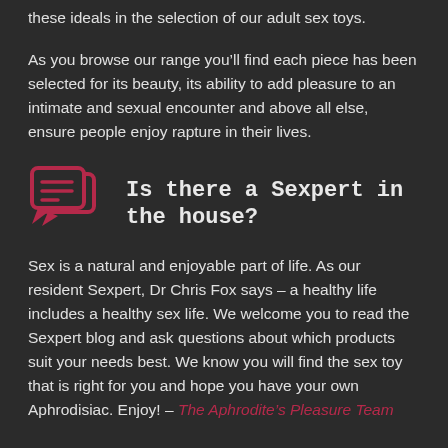these ideals in the selection of our adult sex toys.
As you browse our range you’ll find each piece has been selected for its beauty, its ability to add pleasure to an intimate and sexual encounter and above all else, ensure people enjoy rapture in their lives.
Is there a Sexpert in the house?
Sex is a natural and enjoyable part of life. As our resident Sexpert, Dr Chris Fox says – a healthy life includes a healthy sex life. We welcome you to read the Sexpert blog and ask questions about which products suit your needs best. We know you will find the sex toy that is right for you and hope you have your own Aphrodisiac. Enjoy! – The Aphrodite’s Pleasure Team